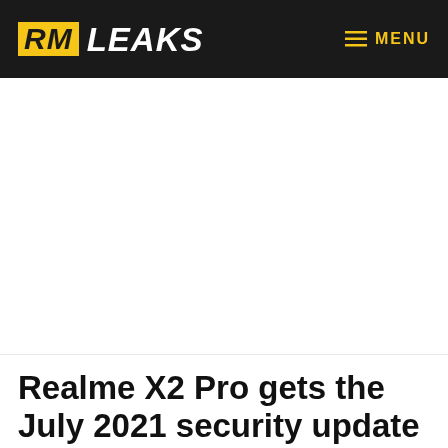RM LEAKS | MENU
[Figure (other): Advertisement/blank white space area]
Realme X2 Pro gets the July 2021 security update with